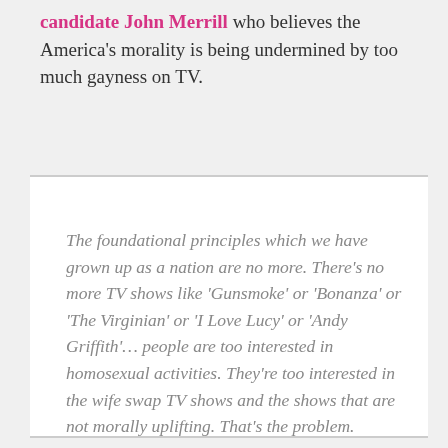candidate John Merrill who believes the America's morality is being undermined by too much gayness on TV.
The foundational principles which we have grown up as a nation are no more. There's no more TV shows like 'Gunsmoke' or 'Bonanza' or 'The Virginian' or 'I Love Lucy' or 'Andy Griffith'… people are too interested in homosexual activities. They're too interested in the wife swap TV shows and the shows that are not morally uplifting. That's the problem.